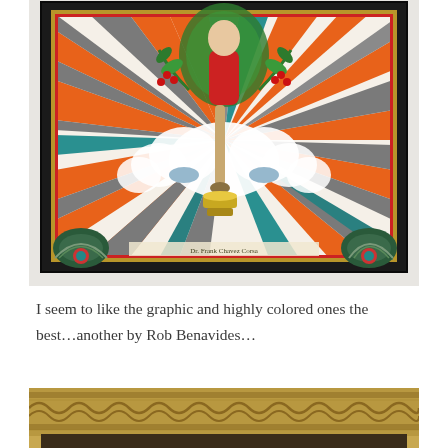[Figure (photo): Framed tattoo-style artwork in a black frame showing a stylized figure (possibly a saint or religious icon) with colorful radiating sunburst background in orange, gray, teal, and red. Decorative elements include clouds, green leaves, and red berries. Bottom corners have circular fan designs. Text at bottom of artwork reads 'Dr. Frank Chavez Corsa'.]
I seem to like the graphic and highly colored ones the best…another by Rob Benavides…
[Figure (photo): Bottom portion of an ornately carved wooden frame with gold/brown patina, showing decorative scroll and leaf motifs along the frame border. The interior of the frame is visible and appears dark.]